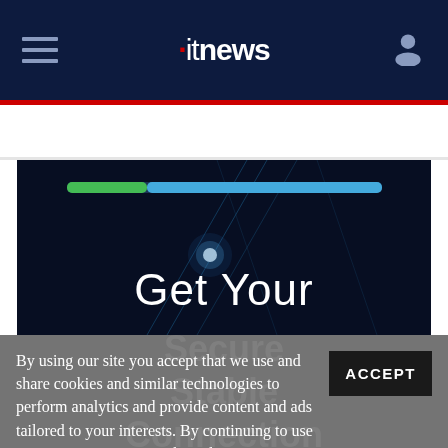itnews
[Figure (screenshot): Article hero image with dark blue tech background, a progress bar (green to blue gradient), glowing dot on diagonal lines, and large white text 'Get Your']
By using our site you accept that we use and share cookies and similar technologies to perform analytics and provide content and ads tailored to your interests. By continuing to use our site, you consent to this. Please see our Cookie Policy for more information.